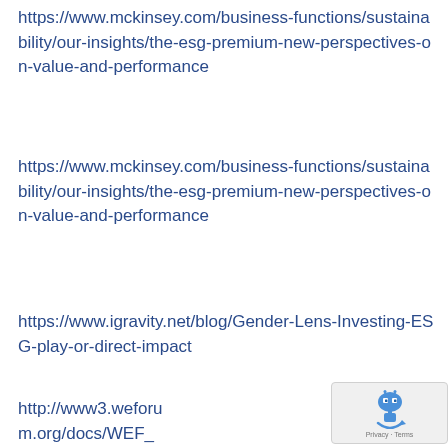https://www.mckinsey.com/business-functions/sustainability/our-insights/the-esg-premium-new-perspectives-on-value-and-performance
https://www.mckinsey.com/business-functions/sustainability/our-insights/the-esg-premium-new-perspectives-on-value-and-performance
https://www.igravity.net/blog/Gender-Lens-Investing-ESG-play-or-direct-impact
http://www3.weforum.org/docs/WEF_
[Figure (other): reCAPTCHA badge with robot icon and Privacy - Terms text]